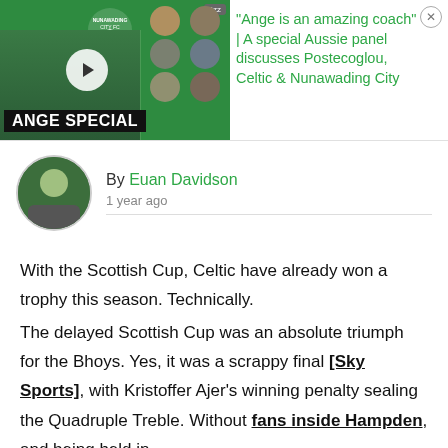[Figure (screenshot): Video thumbnail for 'Ange Special' featuring Ange Postecoglou with Nunawading City FC branding and headshots of panel members]
“Ange is an amazing coach” | A special Aussie panel discusses Postecoglou, Celtic & Nunawading City
By Euan Davidson
1 year ago
With the Scottish Cup, Celtic have already won a trophy this season. Technically.
The delayed Scottish Cup was an absolute triumph for the Bhoys. Yes, it was a scrappy final [Sky Sports], with Kristoffer Ajer’s winning penalty sealing the Quadruple Treble. Without fans inside Hampden, and being held in